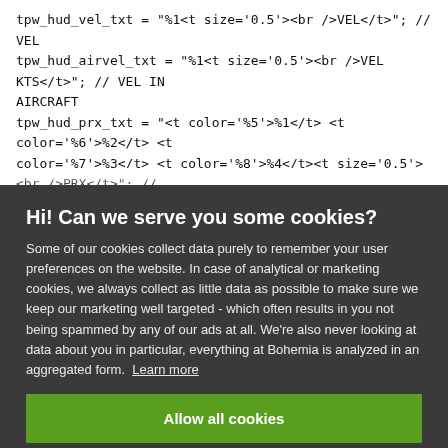tpw_hud_vel_txt = "%1<t size='0.5'><br />VEL</t>"; // VEL
tpw_hud_airvel_txt = "%1<t size='0.5'><br />VEL KTS</t>"; // VEL IN AIRCRAFT
tpw_hud_prx_txt = "<t color='%5'>%1</t> <t color='%6'>%2</t> <t color='%7'>%3</t> <t color='%8'>%4</t><t size='0.5'><br />PRX</t>"; // PRX
//><
//LOC
Hi! Can we serve you some cookies?
Some of our cookies collect data purely to remember your user preferences on the website. In case of analytical or marketing cookies, we always collect as little data as possible to make sure we keep our marketing well targeted - which often results in you not being spammed by any of our ads at all. We're also never looking at data about you in particular, everything at Bohemia is analyzed in an aggregated form. Learn more
Allow all cookies
I want more options